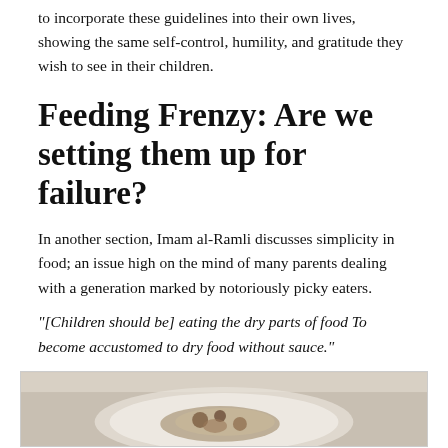to incorporate these guidelines into their own lives, showing the same self-control, humility, and gratitude they wish to see in their children.
Feeding Frenzy: Are we setting them up for failure?
In another section, Imam al-Ramli discusses simplicity in food; an issue high on the mind of many parents dealing with a generation marked by notoriously picky eaters.
“[Children should be] eating the dry parts of food To become accustomed to dry food without sauce.”
[Figure (photo): A close-up photo of a white plate with food, photographed from above on a light surface.]